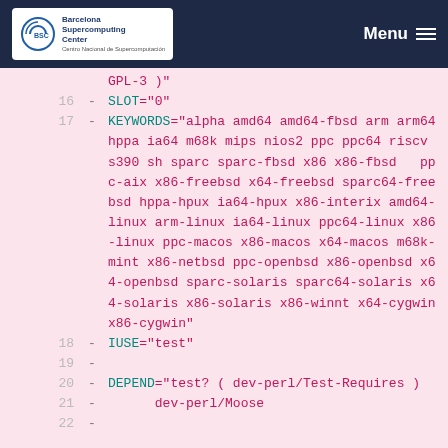[Figure (logo): Barcelona Supercomputing Center logo on dark navy navigation bar with Menu button and hamburger icon]
GPL-3 )"
16  - SLOT="0"
17  - KEYWORDS="alpha amd64 amd64-fbsd arm arm64 hppa ia64 m68k mips nios2 ppc ppc64 riscv s390 sh sparc sparc-fbsd x86 x86-fbsd   ppc-aix x86-freebsd x64-freebsd sparc64-freebsd hppa-hpux ia64-hpux x86-interix amd64-linux arm-linux ia64-linux ppc64-linux x86-linux ppc-macos x86-macos x64-macos m68k-mint x86-netbsd ppc-openbsd x86-openbsd x64-openbsd sparc-solaris sparc64-solaris x64-solaris x86-solaris x86-winnt x64-cygwin x86-cygwin"
18  - IUSE="test"
19  -
20  - DEPEND="test? ( dev-perl/Test-Requires )
21  -       dev-perl/Moose